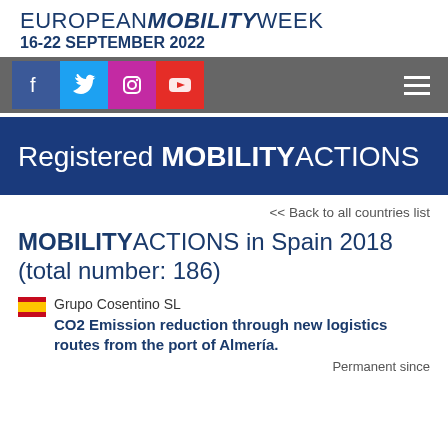EUROPEAN MOBILITY WEEK 16-22 SEPTEMBER 2022
[Figure (screenshot): Social media icons bar: Facebook (blue), Twitter (cyan), Instagram (purple), YouTube (red), with hamburger menu on the right, on grey background]
Registered MOBILITY ACTIONS
<< Back to all countries list
MOBILITY ACTIONS in Spain 2018 (total number: 186)
Grupo Cosentino SL
CO2 Emission reduction through new logistics routes from the port of Almería.
Permanent since